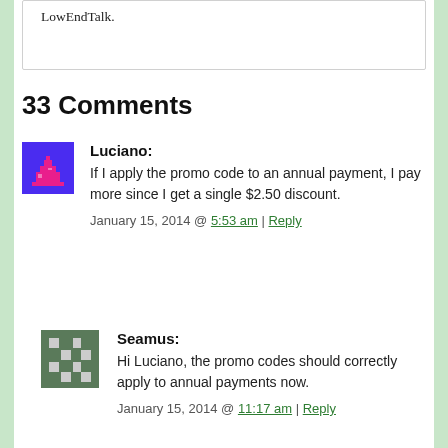LowEndTalk.
33 Comments
Luciano: If I apply the promo code to an annual payment, I pay more since I get a single $2.50 discount.
January 15, 2014 @ 5:53 am | Reply
Seamus: Hi Luciano, the promo codes should correctly apply to annual payments now.
January 15, 2014 @ 11:17 am | Reply